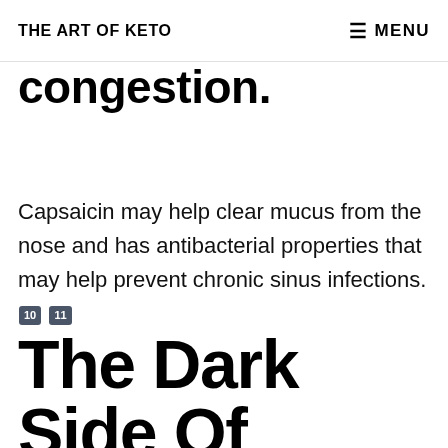THE ART OF KETO   ≡ MENU
congestion.
Capsaicin may help clear mucus from the nose and has antibacterial properties that may help prevent chronic sinus infections. [10] [11]
The Dark Side Of Sriracha: Side